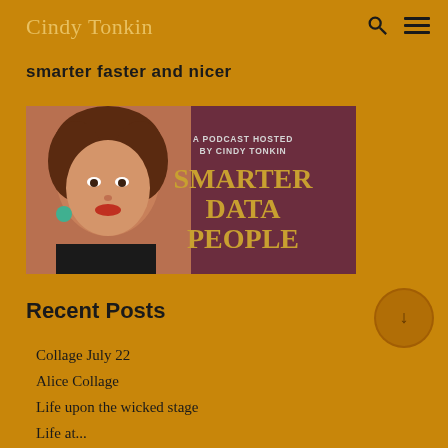Cindy Tonkin
smarter faster and nicer
[Figure (photo): Podcast cover image: woman with curly red hair on left half, dark maroon right half with text 'A PODCAST HOSTED BY CINDY TONKIN' and 'SMARTER DATA PEOPLE' in gold letters]
Recent Posts
Collage July 22
Alice Collage
Life upon the wicked stage
Life at...